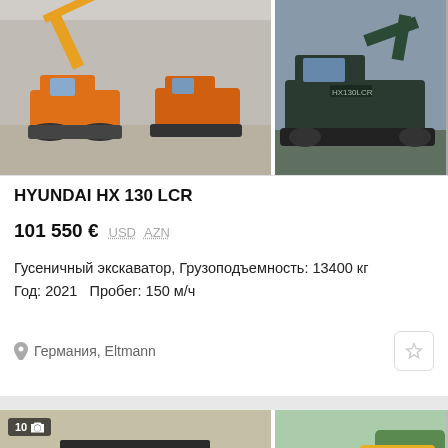[Figure (photo): Two excavators in a yard — one orange small excavator in foreground and one dark/blue crawler excavator on tracks visible from the side. Badge showing image count.]
HYUNDAI HX 130 LCR
101 550 €  USD  AZN
Гусеничный экскаватор, Грузоподъемность: 13400 кг
Год: 2021   Пробег: 150 м/ч
Германия, Eltmann
[Figure (photo): Two yellow wheel loaders (Hyundai) photographed from different angles. The left image shows a loader with a badge '10' and camera icon with 'maschinen...' text overlay.]